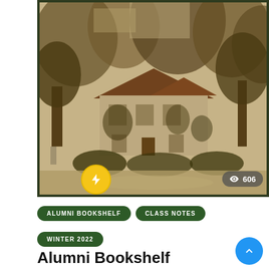[Figure (photo): Historic sepia-toned photograph of a two-story house with ivy-covered walls, large trees surrounding it, and a front yard with bushes. Overlaid with a yellow lightning bolt badge (bottom left) and a views counter showing 606 (bottom right).]
ALUMNI BOOKSHELF
CLASS NOTES
WINTER 2022
Alumni Bookshelf